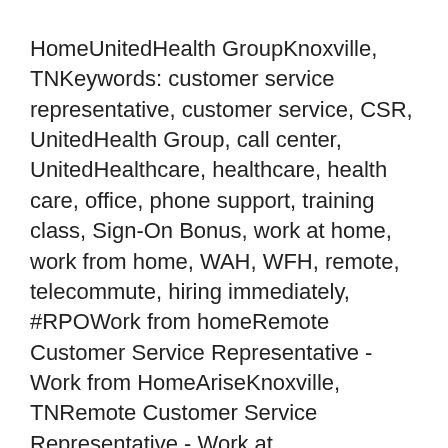HomeUnitedHealth GroupKnoxville, TNKeywords: customer service representative, customer service, CSR, UnitedHealth Group, call center, UnitedHealthcare, healthcare, health care, office, phone support, training class, Sign-On Bonus, work at home, work from home, WAH, WFH, remote, telecommute, hiring immediately, #RPOWork from homeRemote Customer Service Representative - Work from HomeAriseKnoxville, TNRemote Customer Service Representative - Work at HomeLeverage your computer skills to provide customer service, from home! Full-timeRemote mynewextsetup.us28 Easy Online Jobs for